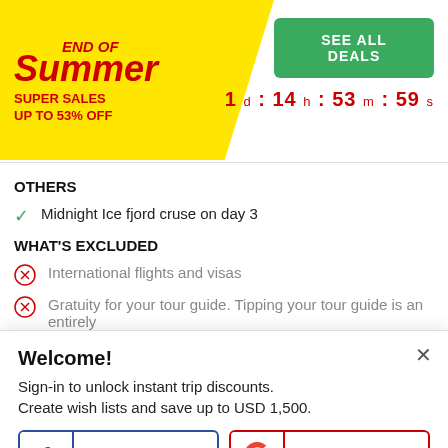END OF Summer SUPER SALES UP TO 53% OFF | SEE ALL DEALS | 1 d : 14 h : 53 m : 59 s
OTHERS
Midnight Ice fjord cruse on day 3
WHAT'S EXCLUDED
International flights and visas
Gratuity for your tour guide. Tipping your tour guide is an entirely
Welcome!
Sign-in to unlock instant trip discounts.
Create wish lists and save up to USD 1,500.
FACEBOOK
GOOGLE
More login options here.